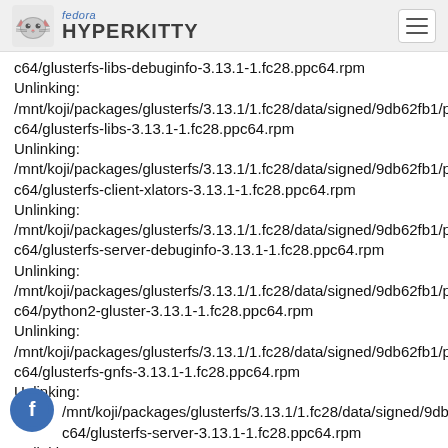fedora HYPERKITTY
c64/glusterfs-libs-debuginfo-3.13.1-1.fc28.ppc64.rpm
Unlinking:
/mnt/koji/packages/glusterfs/3.13.1/1.fc28/data/signed/9db62fb1/ppc64/glusterfs-libs-3.13.1-1.fc28.ppc64.rpm
Unlinking:
/mnt/koji/packages/glusterfs/3.13.1/1.fc28/data/signed/9db62fb1/ppc64/glusterfs-client-xlators-3.13.1-1.fc28.ppc64.rpm
Unlinking:
/mnt/koji/packages/glusterfs/3.13.1/1.fc28/data/signed/9db62fb1/ppc64/glusterfs-server-debuginfo-3.13.1-1.fc28.ppc64.rpm
Unlinking:
/mnt/koji/packages/glusterfs/3.13.1/1.fc28/data/signed/9db62fb1/ppc64/python2-gluster-3.13.1-1.fc28.ppc64.rpm
Unlinking:
/mnt/koji/packages/glusterfs/3.13.1/1.fc28/data/signed/9db62fb1/ppc64/glusterfs-gnfs-3.13.1-1.fc28.ppc64.rpm
Unlinking:
/mnt/koji/packages/glusterfs/3.13.1/1.fc28/data/signed/9db62fb1/ppc64/glusterfs-server-3.13.1-1.fc28.ppc64.rpm
Unlinking: